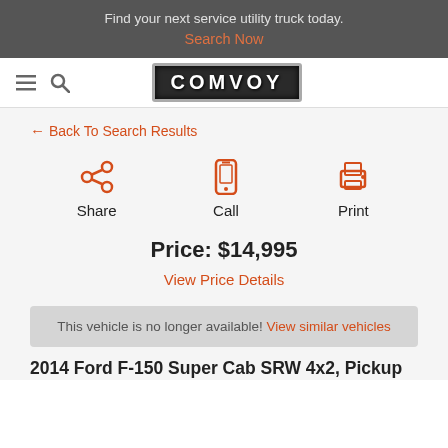Find your next service utility truck today.
Search Now
[Figure (logo): COMVOY logo in white text on dark background with border]
← Back To Search Results
[Figure (infographic): Three action icons: Share (share icon), Call (phone icon), Print (printer icon)]
Price: $14,995
View Price Details
This vehicle is no longer available! View similar vehicles
2014 Ford F-150 Super Cab SRW 4x2, Pickup